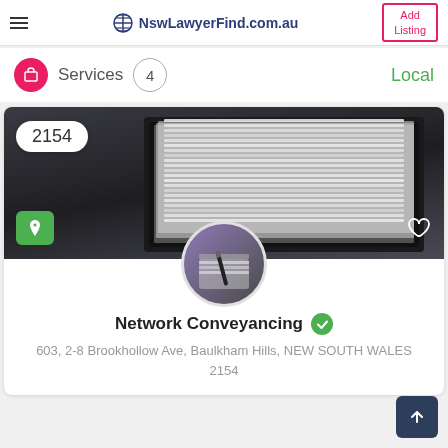NswLawyerFind.com.au | Add Listing
Services 4 Local
[Figure (photo): Stack of papers/documents in a dark binder folder, grey-dark background]
[Figure (photo): Circular profile image showing papers and a pen on a notebook]
Network Conveyancing
603, 2-8 Brookhollow Ave, Baulkham Hills, NEW SOUTH WALES 2154